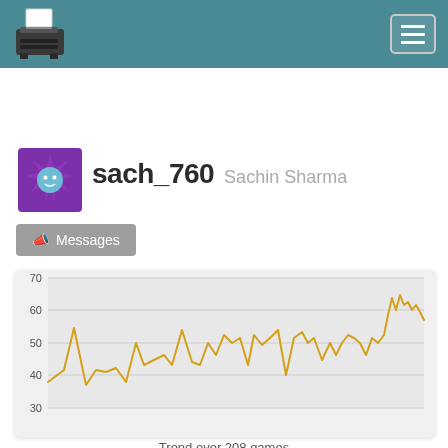Header navigation bar with typewriter logo and hamburger menu
[Figure (logo): Typewriter icon logo in header]
[Figure (illustration): User avatar: purple star-shaped monster character with blue face]
sach_760 Sachin Sharma
Messages button
[Figure (continuous-plot): Line chart showing score trend over 208 games, rising from ~37 to ~65-67, with a general upward trend. Y-axis shows values 30, 40, 50, 60, 70.]
Trend over 208 games